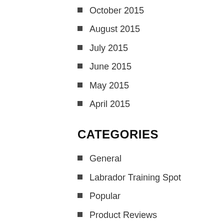October 2015
August 2015
July 2015
June 2015
May 2015
April 2015
CATEGORIES
General
Labrador Training Spot
Popular
Product Reviews
LABRADOR TRAINING SPOT
[Figure (photo): Three photos of dogs side by side at the bottom of the page]